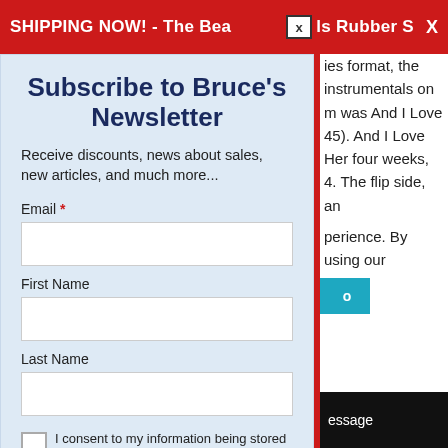SHIPPING NOW! - The Beatles Rubber S  X
Subscribe to Bruce's Newsletter
Receive discounts, news about sales, new articles, and much more...
Email *
First Name
Last Name
I consent to my information being stored and used to receive the beatle.net newsletter *
ies format, the instrumentals on m was And I Love 45). And I Love Her four weeks, 4. The flip side, an perience. By using our cookies.
essage